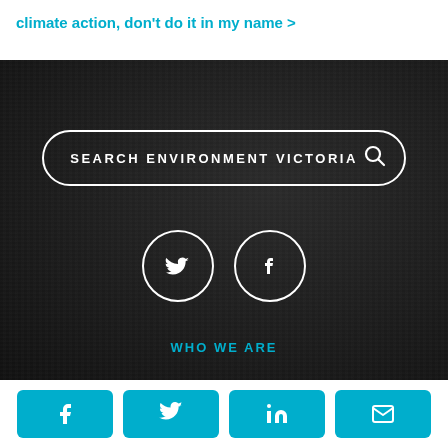climate action, don't do it in my name >
[Figure (screenshot): Dark textured background section with a search bar labeled 'SEARCH ENVIRONMENT VICTORIA' with a magnifying glass icon, two circular social media icons (Twitter and Facebook), and a 'WHO WE ARE' link in teal text]
[Figure (infographic): Share bar with four teal rounded buttons: Facebook share, Twitter share, LinkedIn share, and Email share icons]